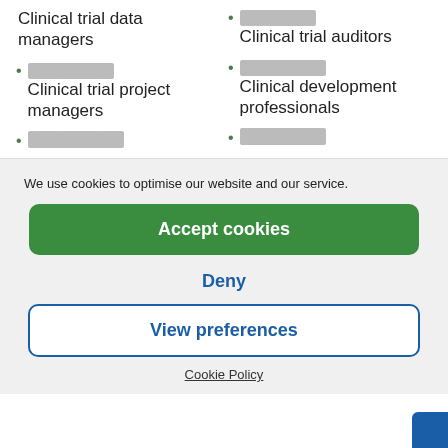Clinical trial data managers
[redacted] Clinical trial auditors
[redacted] Clinical trial project managers
[redacted] Clinical development professionals
[redacted]
[redacted]
We use cookies to optimise our website and our service.
Accept cookies
Deny
View preferences
Cookie Policy